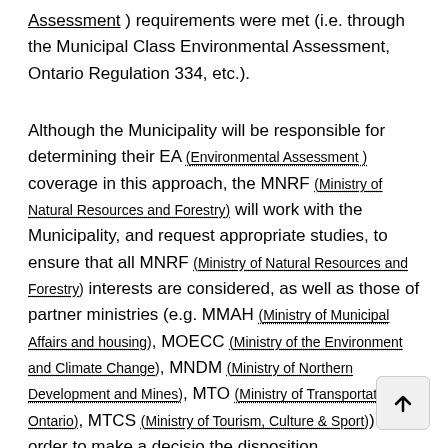Assessment ) requirements were met (i.e. through the Municipal Class Environmental Assessment, Ontario Regulation 334, etc.).
Although the Municipality will be responsible for determining their EA (Environmental Assessment ) coverage in this approach, the MNRF (Ministry of Natural Resources and Forestry) will work with the Municipality, and request appropriate studies, to ensure that all MNRF (Ministry of Natural Resources and Forestry) interests are considered, as well as those of partner ministries (e.g. MMAH (Ministry of Municipal Affairs and housing), MOECC (Ministry of the Environment and Climate Change), MNDM (Ministry of Northern Development and Mines), MTO (Ministry of Transportation Ontario), MTCS (Ministry of Tourism, Culture & Sport)) in order to make a decision on the disposition.